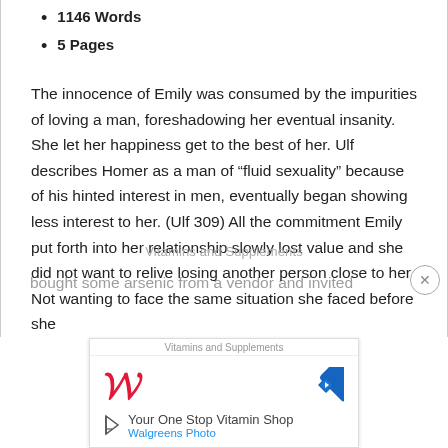1146 Words
5 Pages
The innocence of Emily was consumed by the impurities of loving a man, foreshadowing her eventual insanity. She let her happiness get to the best of her. Ulf describes Homer as a man of “fluid sexuality” because of his hinted interest in men, eventually began showing less interest to her. (Ulf 309) All the commitment Emily put forth into her relationship slowly lost value and she did not want to relive losing another person close to her. Not wanting to face the same situation she faced before she bought some arsenic from a vendor and invited
[Figure (screenshot): Walgreens advertisement banner: Vitamins and Supplements, Your One Stop Vitamin Shop, Walgreens Photo]